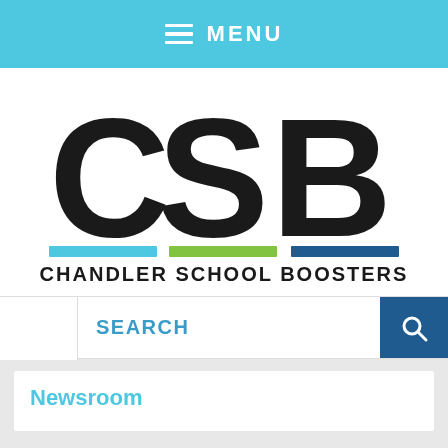MENU
[Figure (logo): CSB Chandler School Boosters logo with large bold letters C, S, B above three colored horizontal bars (cyan, green, dark blue) and text CHANDLER SCHOOL BOOSTERS below]
SEARCH
Newsroom